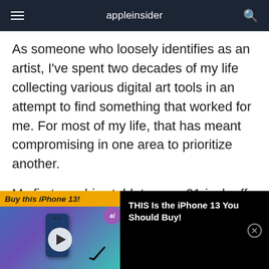appleinsider
As someone who loosely identifies as an artist, I've spent two decades of my life collecting various digital art tools in an attempt to find something that worked for me. For most of my life, that has meant compromising in one area to prioritize another.
My first graphics tablet was a 21-inch off-brand tablet. It was bulky and looked very Y2K inspired — and never worked particularly well with the
[Figure (screenshot): Video advertisement banner for iPhone 13. Shows yellow banner with 'Buy this iPhone 13!' text, a video thumbnail of a blue iPhone 13, a play button, an arrow pointing down at the phone, an 'ai' purple circle badge, and right side shows 'THIS Is the iPhone 13 You Should Buy!' text with a close (X) button on black background.]